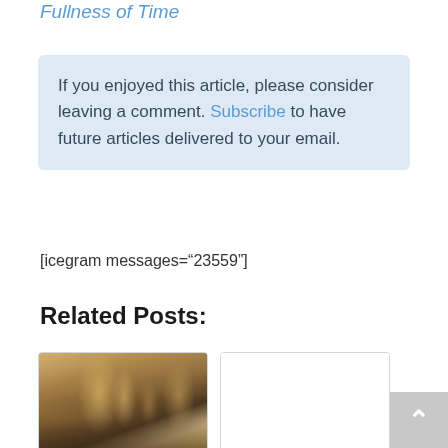Fullness of Time
If you enjoyed this article, please consider leaving a comment. Subscribe to have future articles delivered to your email.
[icegram messages="23559"]
Related Posts:
[Figure (photo): Historical painting depicting figures in ancient/classical setting, possibly biblical scene]
History of
History of